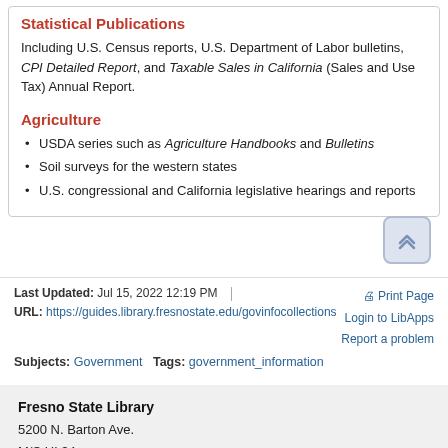Statistical Publications
Including U.S. Census reports, U.S. Department of Labor bulletins, CPI Detailed Report, and Taxable Sales in California (Sales and Use Tax) Annual Report.
Agriculture
USDA series such as Agriculture Handbooks and Bulletins
Soil surveys for the western states
U.S. congressional and California legislative hearings and reports
Last Updated: Jul 15, 2022 12:19 PM | URL: https://guides.library.fresnostate.edu/govinfocollections | Print Page | Login to LibApps | Report a problem | Subjects: Government Tags: government_information
Fresno State Library
5200 N. Barton Ave.
M/S UL34
Fresno, CA 93740-8014
P: 559.278.2174